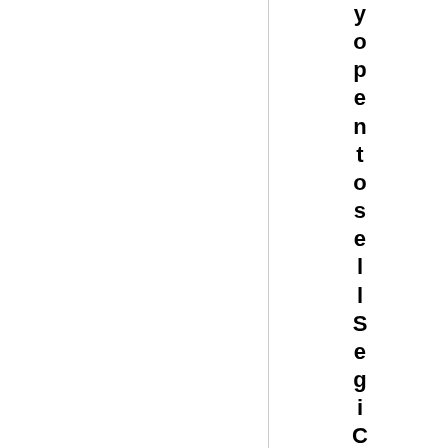yopentosell Segi Cola and 33Export